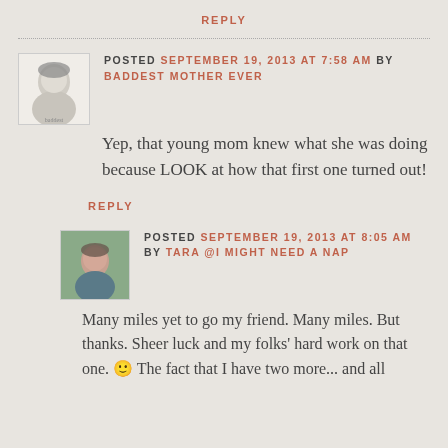REPLY
POSTED SEPTEMBER 19, 2013 AT 7:58 AM BY BADDEST MOTHER EVER
Yep, that young mom knew what she was doing because LOOK at how that first one turned out!
REPLY
POSTED SEPTEMBER 19, 2013 AT 8:05 AM BY TARA @I MIGHT NEED A NAP
Many miles yet to go my friend. Many miles. But thanks. Sheer luck and my folks' hard work on that one. 🙂 The fact that I have two more... and all